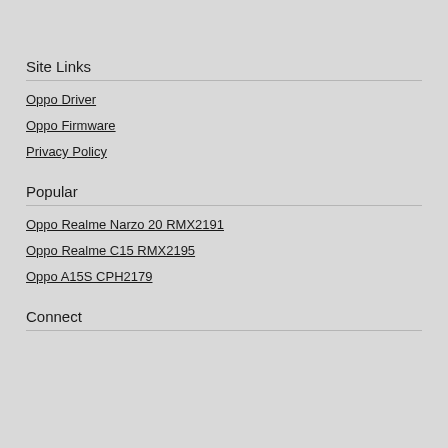Site Links
Oppo Driver
Oppo Firmware
Privacy Policy
Popular
Oppo Realme Narzo 20 RMX2191
Oppo Realme C15 RMX2195
Oppo A15S CPH2179
Connect